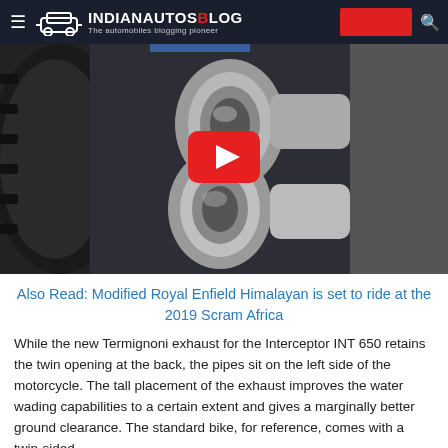IndianAutosBlog — The automobiles blogging pioneer
[Figure (screenshot): YouTube video thumbnail showing close-up of twin exhaust pipes of a motorcycle (Royal Enfield Interceptor INT 650 with Termignoni exhaust), with red YouTube play button overlay. Dark background with motorcycle tire and engine visible.]
Also Read: Modified Royal Enfield Himalayan is set to ride at the 2019 Scram Africa
While the new Termignoni exhaust for the Interceptor INT 650 retains the twin opening at the back, the pipes sit on the left side of the motorcycle. The tall placement of the exhaust improves the water wading capabilities to a certain extent and gives a marginally better ground clearance. The standard bike, for reference, comes with a twin-sided